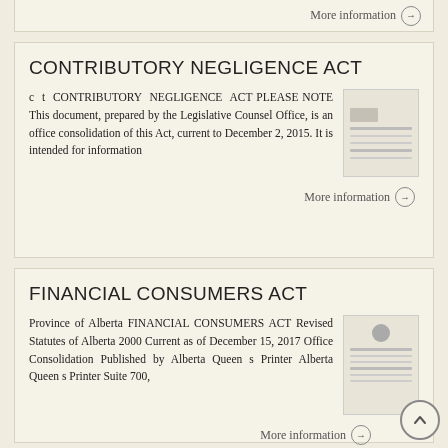More information →
CONTRIBUTORY NEGLIGENCE ACT
c t CONTRIBUTORY NEGLIGENCE ACT PLEASE NOTE This document, prepared by the Legislative Counsel Office, is an office consolidation of this Act, current to December 2, 2015. It is intended for information
More information →
FINANCIAL CONSUMERS ACT
Province of Alberta FINANCIAL CONSUMERS ACT Revised Statutes of Alberta 2000 Current as of December 15, 2017 Office Consolidation Published by Alberta Queen s Printer Alberta Queen s Printer Suite 700,
More information →